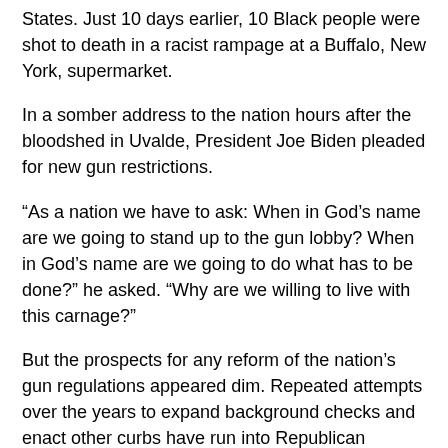States. Just 10 days earlier, 10 Black people were shot to death in a racist rampage at a Buffalo, New York, supermarket.
In a somber address to the nation hours after the bloodshed in Uvalde, President Joe Biden pleaded for new gun restrictions.
“As a nation we have to ask: When in God’s name are we going to stand up to the gun lobby? When in God’s name are we going to do what has to be done?” he asked. “Why are we willing to live with this carnage?”
But the prospects for any reform of the nation’s gun regulations appeared dim. Repeated attempts over the years to expand background checks and enact other curbs have run into Republican resistance in Congress.
Before the attack, Ramos shot and wounded his grandmother, then fled the scene, crashing his truck near the school and entering the building, authorities said. Inside the barricaded